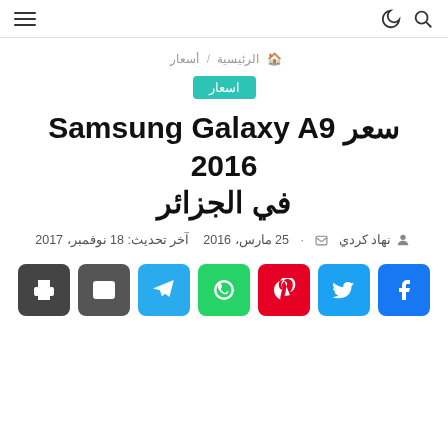navbar with search, moon, and hamburger icons
الرئيسية / أسعار
اسعار
سعر Samsung Galaxy A9 2016 في الجزائر
نهاد كردي  ·  25 مارس، 2016  آخر تحديث: 18 نوفمبر، 2017
[Figure (infographic): Social share buttons: print, email, Telegram, WhatsApp, Pinterest, Twitter, Facebook]